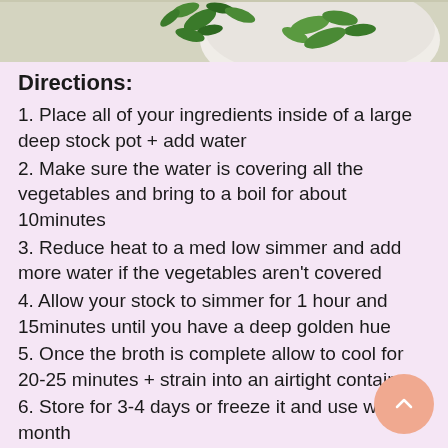[Figure (photo): Top portion of a photo showing green herbs/vegetables in a white bowl on a light surface]
Directions:
1. Place all of your ingredients inside of a large deep stock pot + add water
2. Make sure the water is covering all the vegetables and bring to a boil for about 10minutes
3. Reduce heat to a med low simmer and add more water if the vegetables aren't covered
4. Allow your stock to simmer for 1 hour and 15minutes until you have a deep golden hue
5. Once the broth is complete allow to cool for 20-25 minutes + strain into an airtight container
6. Store for 3-4 days or freeze it and use within a month